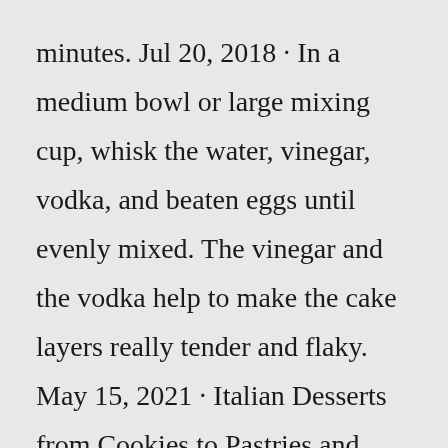minutes. Jul 20, 2018 · In a medium bowl or large mixing cup, whisk the water, vinegar, vodka, and beaten eggs until evenly mixed. The vinegar and the vodka help to make the cake layers really tender and flaky. May 15, 2021 · Italian Desserts from Cookies to Pastries and everything in between. You are going to love these Italian Dessert recipes from cookies, cakes, Creams, Pies and Tarts. Snacks and fancy desserts. Something